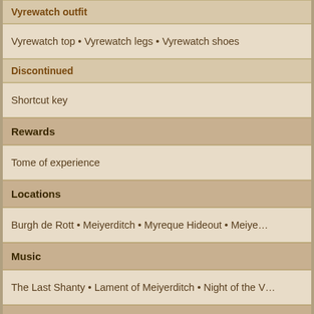Vyrewatch outfit
Vyrewatch top • Vyrewatch legs • Vyrewatch shoes
Discontinued
Shortcut key
Rewards
Tome of experience
Locations
Burgh de Rott • Meiyerditch • Myreque Hideout • Meiye…
Music
The Last Shanty • Lament of Meiyerditch • Night of the V…
Related
Quick Guide